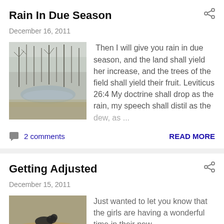Rain In Due Season
December 16, 2011
[Figure (photo): A misty landscape photo showing bare trees and a foggy field or water body in winter.]
Then I will give you rain in due season, and the land shall yield her increase, and the trees of the field shall yield their fruit. Leviticus 26:4 My doctrine shall drop as the rain, my speech shall distil as the dew, as ...
2 comments
READ MORE
Getting Adjusted
December 15, 2011
[Figure (photo): A photo showing what appears to be a dark-colored animal (dog or goat) in a natural outdoor setting with fallen leaves.]
Just wanted to let you know that the girls are having a wonderful time in their new